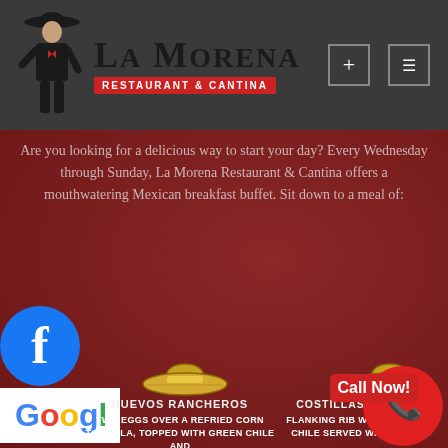[Figure (logo): La Morena Restaurant & Cantina logo with mariachi figure silhouette]
Are you looking for a delicious way to start your day? Every Wednesday through Sunday, La Morena Restaurant & Cantina offers a mouthwatering Mexican breakfast buffet. Sit down to a meal of:
[Figure (logo): Facebook social media badge/icon]
[Figure (logo): Google review badge/icon]
[Figure (illustration): Sombrero hat illustration - left column]
HUEVOS RANCHEROS
TWO EGGS OVER A REFRIED CORN TORTILLA, TOPPED WITH GREEN CHILE AND CHEESE
[Figure (illustration): Sombrero hat illustration - right column]
COSTILLAS EN CHILE
FLANKING RIB WITH GREEN CHILE SERVED WITH TWO
[Figure (infographic): Call Now! button with phone icon in red circle]